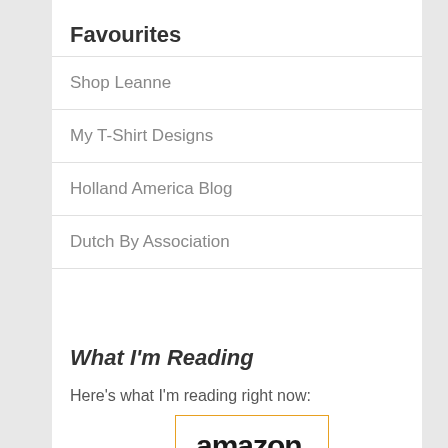Favourites
Shop Leanne
My T-Shirt Designs
Holland America Blog
Dutch By Association
What I'm Reading
Here's what I'm reading right now:
[Figure (logo): Amazon logo with orange arrow beneath the text]